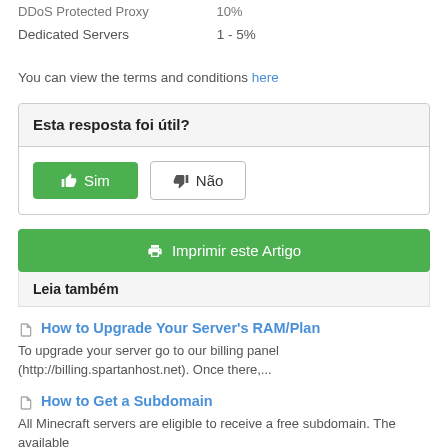DDoS Protected Proxy  10%
Dedicated Servers      1 - 5%
You can view the terms and conditions here
Esta resposta foi útil?
Sim   Não
Imprimir este Artigo
Leia também
How to Upgrade Your Server's RAM/Plan
To upgrade your server go to our billing panel (http://billing.spartanhost.net). Once there,...
How to Get a Subdomain
All Minecraft servers are eligible to receive a free subdomain. The available